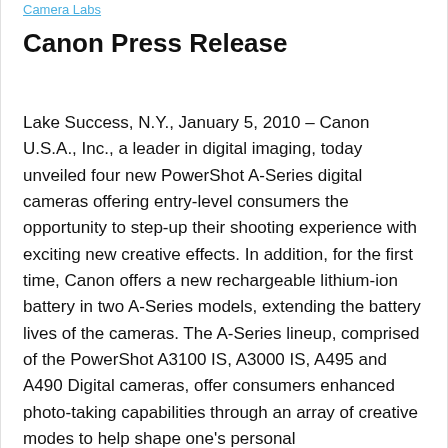Camera Labs
Canon Press Release
Lake Success, N.Y., January 5, 2010 – Canon U.S.A., Inc., a leader in digital imaging, today unveiled four new PowerShot A-Series digital cameras offering entry-level consumers the opportunity to step-up their shooting experience with exciting new creative effects. In addition, for the first time, Canon offers a new rechargeable lithium-ion battery in two A-Series models, extending the battery lives of the cameras. The A-Series lineup, comprised of the PowerShot A3100 IS, A3000 IS, A495 and A490 Digital cameras, offer consumers enhanced photo-taking capabilities through an array of creative modes to help shape one's personal